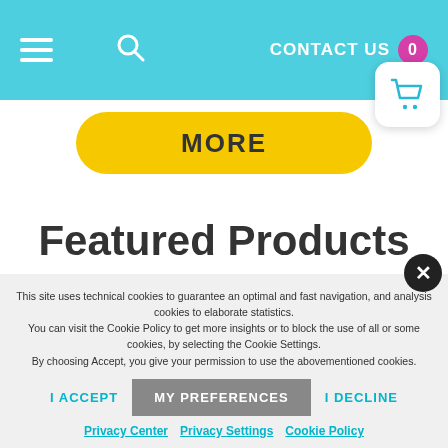CONTACT US 0
MORE
Featured Products
Buy amazing products that enhance your electric driving lifestyle
This site uses technical cookies to guarantee an optimal and fast navigation, and analysis cookies to elaborate statistics.
You can visit the Cookie Policy to get more insights or to block the use of all or some cookies, by selecting the Cookie Settings.
By choosing Accept, you give your permission to use the abovementioned cookies.
I ACCEPT   MY PREFERENCES   I DECLINE
Privacy Center   Privacy Settings   Cookie Policy